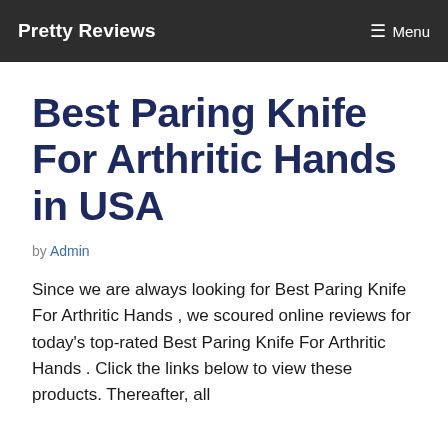Pretty Reviews   ☰ Menu
Best Paring Knife For Arthritic Hands in USA
by Admin
Since we are always looking for Best Paring Knife For Arthritic Hands , we scoured online reviews for today's top-rated Best Paring Knife For Arthritic Hands . Click the links below to view these products. Thereafter, all